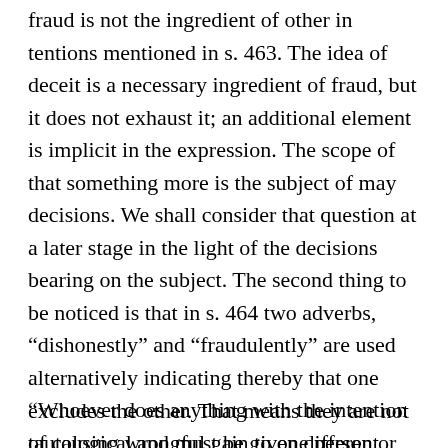fraud is not the ingredient of other in  tentions mentioned in s. 463. The idea of deceit is a necessary ingredient of fraud, but it does not exhaust it; an additional element is implicit in the expression. The scope of that something more is the subject of may decisions. We shall consider that question at a later stage in the light of the decisions bearing on the subject. The second thing to be noticed is that in s. 464 two adverbs, “dishonestly” and “fraudulently” are used alternatively indicating thereby that one excludes the other. That means they are not tautological and must be given different meanings. Section 24 of the Penal Code defines “dishonestly” thus :
“Whoever does anything with the intention of causing wrongful gain to one person or wrongful loss